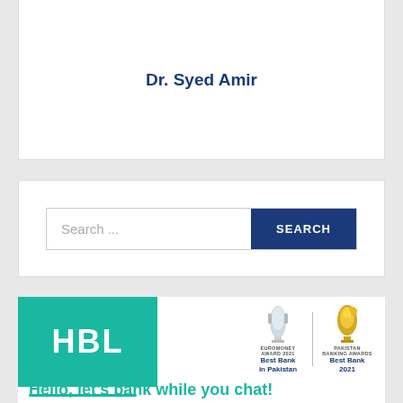Dr. Syed Amir
[Figure (screenshot): Search bar with text input showing placeholder 'Search ...' and a dark blue SEARCH button]
[Figure (logo): HBL bank advertisement banner with teal HBL logo, Euromoney Award 2021 Best Bank in Pakistan trophy and Pakistan Banking Awards Best Bank 2021 trophy, teal underline, and text 'Hello, let's bank while you chat!']